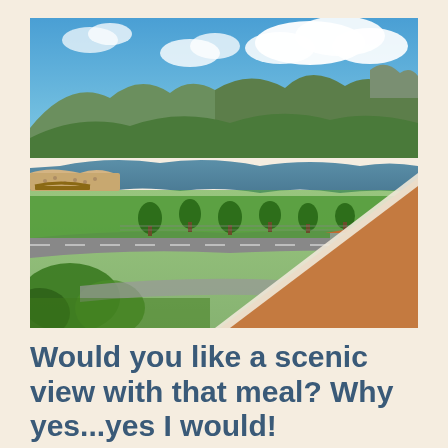[Figure (photo): Aerial scenic view of a mountain lake resort area with green hills, blue sky with clouds, a sandy beach with people, a road, trees, and buildings including a house with a brown/terracotta roof. A large brown diagonal triangle shape overlays the bottom-right corner of the image.]
Would you like a scenic view with that meal? Why yes...yes I would!